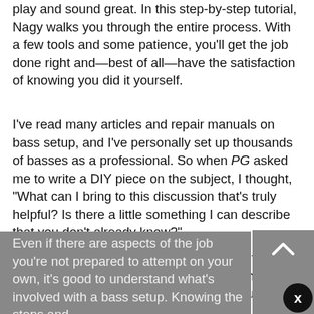play and sound great. In this step-by-step tutorial, Nagy walks you through the entire process. With a few tools and some patience, you'll get the job done right and—best of all—have the satisfaction of knowing you did it yourself.
I've read many articles and repair manuals on bass setup, and I've personally set up thousands of basses as a professional. So when PG asked me to write a DIY piece on the subject, I thought, "What can I bring to this discussion that's truly helpful? Is there a little something I can describe that you don't already know?"
In this article, we'll cover the essentials with the goal of helping you decide what you can handle yourself and what you should leave to your local repair technician. Even if there are aspects of the job you're not prepared to attempt on your own, it's good to understand what's involved with a bass setup. Knowing the steps and